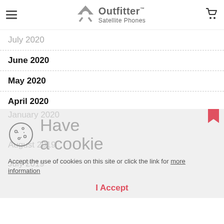Outfitter Satellite Phones
July 2020
June 2020
May 2020
April 2020
January 2020
August 2019
Have a cookie
Accept the use of cookies on this site or click the link for more information
I Accept